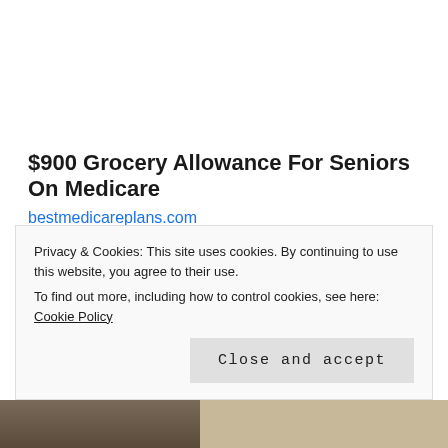$900 Grocery Allowance For Seniors On Medicare
bestmedicareplans.com
Tagged author, books, children, encouragement, freedom, grief, healing, men, music, personal, women, wordpress, writer
Privacy & Cookies: This site uses cookies. By continuing to use this website, you agree to their use. To find out more, including how to control cookies, see here: Cookie Policy
Close and accept
[Figure (photo): Partial photo of a person visible at the bottom of the page]